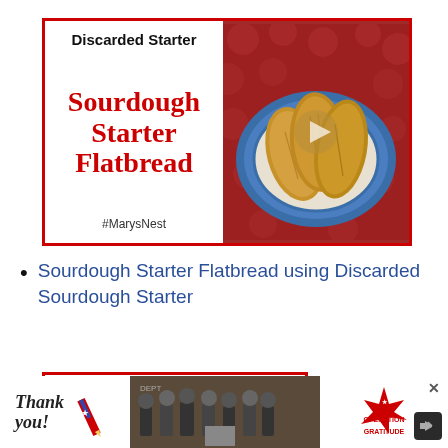[Figure (photo): Video thumbnail for Sourdough Starter Flatbread. Left panel: white background with bold text 'Discarded Starter' and red serif text 'Sourdough Starter Flatbread' and '#MarysNest'. Right panel: photo of golden flatbreads on a blue and white plate on a red tablecloth.]
Sourdough Starter Flatbread using Discarded Sourdough Starter
[Figure (photo): Partial second thumbnail at bottom showing 'Discarded Starter' text in bold.]
[Figure (photo): Advertisement banner at bottom: 'Thank you!' cursive text with American flag pencil graphic on left, group photo of firefighters in center, Operation Gratitude logo on right with close button X.]